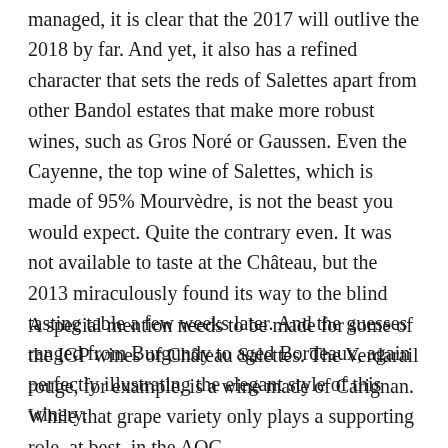managed, it is clear that the 2017 will outlive the 2018 by far. And yet, it also has a refined character that sets the reds of Salettes apart from other Bandol estates that make more robust wines, such as Gros Noré or Gaussen. Even the Cayenne, the top wine of Salettes, which is made of 95% Mourvèdre, is not the beast you would expect. Quite the contrary even. It was not available to taste at the Château, but the 2013 miraculously found its way to the blind tasting table a few weeks later. And the guesses ranged from Burgundy to aged Bordeaux, again perfectly illustrating the elegant style of this winery.
A special mention needs to be made for some of the IGP wines of Château Salettes. The Verdarail rouge, for example, is a wine made of Carignan. While that grape variety only plays a supporting role, at best, in the AOC